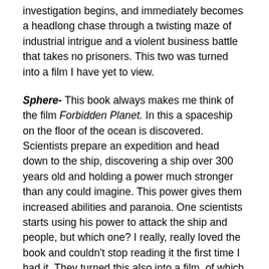investigation begins, and immediately becomes a headlong chase through a twisting maze of industrial intrigue and a violent business battle that takes no prisoners. This two was turned into a film I have yet to view.
Sphere- This book always makes me think of the film Forbidden Planet. In this a spaceship on the floor of the ocean is discovered. Scientists prepare an expedition and head down to the ship, discovering a ship over 300 years old and holding a power much stronger than any could imagine. This power gives them increased abilities and paranoia. One scientists starts using his power to attack the ship and people, but which one? I really, really loved the book and couldn't stop reading it the first time I had it. They turned this also into a film, of which I have had problems getting my hands on it. When I do see it, you